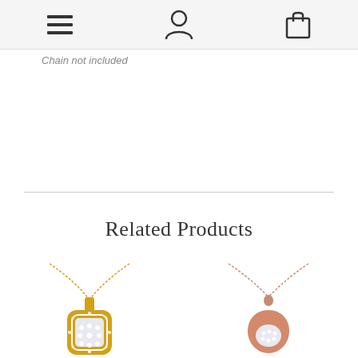[navigation icons: hamburger menu, user account, shopping bag]
Chain not included
Related Products
[Figure (photo): Yellow gold diamond cushion halo pendant necklace with chain]
[Figure (photo): Rose gold diamond teardrop pendant necklace with chain]